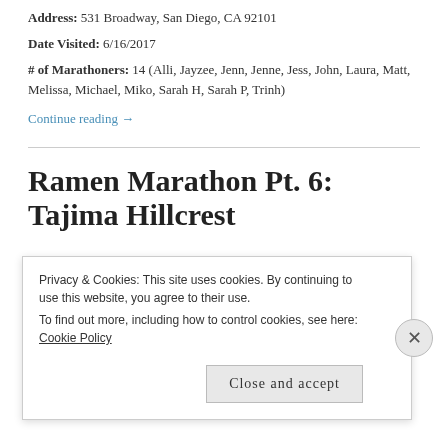Address: 531 Broadway, San Diego, CA 92101
Date Visited: 6/16/2017
# of Marathoners: 14 (Alli, Jayzee, Jenn, Jenne, Jess, John, Laura, Matt, Melissa, Michael, Miko, Sarah H, Sarah P, Trinh)
Continue reading →
Ramen Marathon Pt. 6: Tajima Hillcrest
Privacy & Cookies: This site uses cookies. By continuing to use this website, you agree to their use.
To find out more, including how to control cookies, see here: Cookie Policy
Close and accept